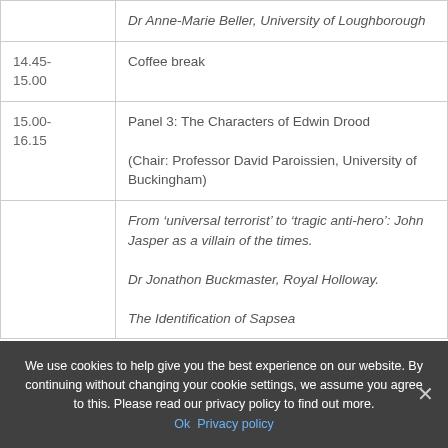| Time | Event |
| --- | --- |
|  | Dr Anne-Marie Beller, University of Loughborough |
| 14.45-
15.00 | Coffee break |
| 15.00-
16.15 | Panel 3: The Characters of Edwin Drood

(Chair: Professor David Paroissien, University of Buckingham) |
|  | From ‘universal terrorist’ to ‘tragic anti-hero’: John Jasper as a villain of the times.

Dr Jonathon Buckmaster, Royal Holloway.

The Identification of Sapsea |
We use cookies to help give you the best experience on our website. By continuing without changing your cookie settings, we assume you agree to this. Please read our privacy policy to find out more.
Ok  Privacy policy